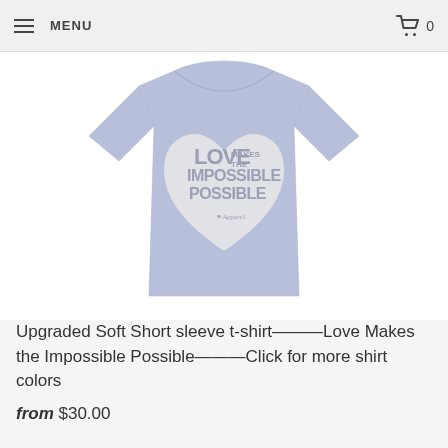MENU  0
[Figure (photo): Light periwinkle/lavender blue t-shirt with a white heart graphic in the center containing the text 'LOVE MAKES THE IMPOSSIBLE POSSIBLE' in layered typography]
Upgraded Soft Short sleeve t-shirt---Love Makes the Impossible Possible---Click for more shirt colors
from $30.00